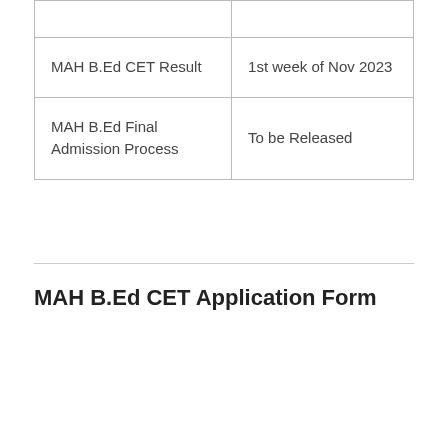| MAH B.Ed CET Result | 1st week of Nov 2023 |
| MAH B.Ed Final Admission Process | To be Released |
MAH B.Ed CET Application Form